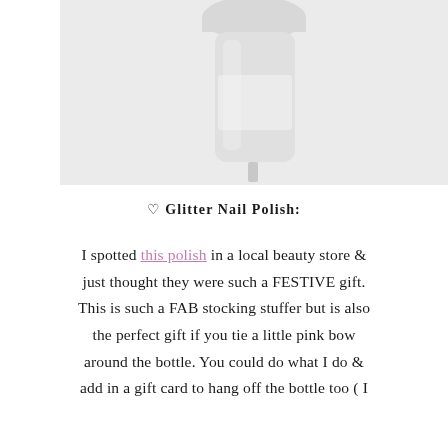[Figure (photo): A nail polish bottle photographed from an angle on a light gray background, showing a cylindrical bottle with a metallic cap, partially cropped at the top.]
♡ Glitter Nail Polish:
I spotted this polish in a local beauty store & just thought they were such a FESTIVE gift. This is such a FAB stocking stuffer but is also the perfect gift if you tie a little pink bow around the bottle. You could do what I do & add in a gift card to hang off the bottle too ( I